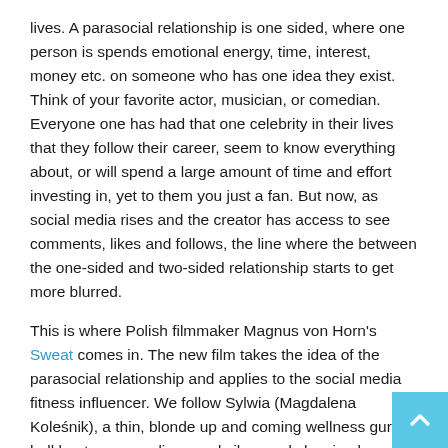lives. A parasocial relationship is one sided, where one person is spends emotional energy, time, interest, money etc. on someone who has one idea they exist. Think of your favorite actor, musician, or comedian. Everyone one has had that one celebrity in their lives that they follow their career, seem to know everything about, or will spend a large amount of time and effort investing in, yet to them you just a fan. But now, as social media rises and the creator has access to see comments, likes and follows, the line where the between the one-sided and two-sided relationship starts to get more blurred.

This is where Polish filmmaker Magnus von Horn's Sweat comes in. The new film takes the idea of the parasocial relationship and applies to the social media fitness influencer. We follow Sylwia (Magdalena Koleśnik), a thin, blonde up and coming wellness guru hell bent on spreading good vibes and showing her truest self to her 600,000 instagram followers.